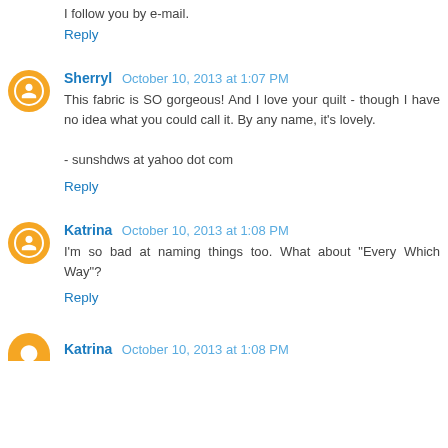I follow you by e-mail.
Reply
Sherryl  October 10, 2013 at 1:07 PM
This fabric is SO gorgeous! And I love your quilt - though I have no idea what you could call it. By any name, it's lovely.

- sunshdws at yahoo dot com
Reply
Katrina  October 10, 2013 at 1:08 PM
I'm so bad at naming things too. What about "Every Which Way"?
Reply
Katrina  October 10, 2013 at 1:08 PM